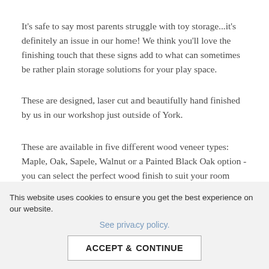It's safe to say most parents struggle with toy storage...it's definitely an issue in our home! We think you'll love the finishing touch that these signs add to what can sometimes be rather plain storage solutions for your play space.
These are designed, laser cut and beautifully hand finished by us in our workshop just outside of York.
These are available in five different wood veneer types: Maple, Oak, Sapele, Walnut or a Painted Black Oak option - you can select the perfect wood finish to suit your room decor. Our veneered wood is of the highest quality, is FSC sustainably sourced and prepared in-
This website uses cookies to ensure you get the best experience on our website.
See privacy policy.
ACCEPT & CONTINUE